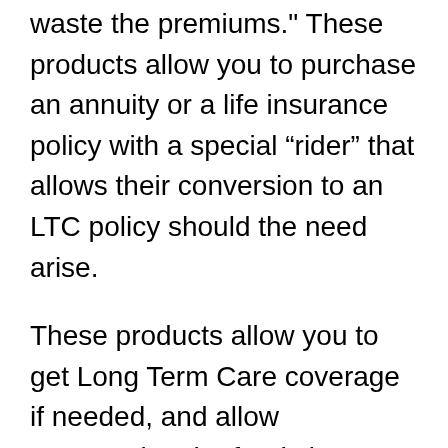waste the premiums." These products allow you to purchase an annuity or a life insurance policy with a special “rider” that allows their conversion to an LTC policy should the need arise.
These products allow you to get Long Term Care coverage if needed, and allow repurposing the funds in case the Long Term Care benefit is not used. The